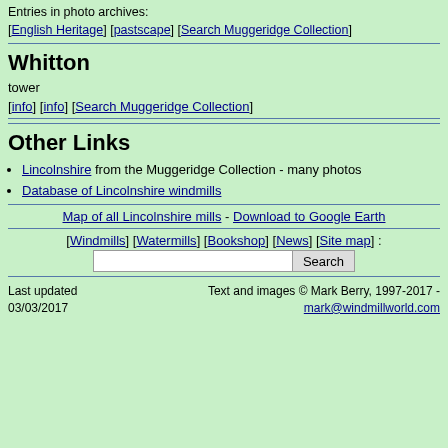Entries in photo archives: [English Heritage] [pastscape] [Search Muggeridge Collection]
Whitton
tower
[info] [info] [Search Muggeridge Collection]
Other Links
Lincolnshire from the Muggeridge Collection - many photos
Database of Lincolnshire windmills
Map of all Lincolnshire mills - Download to Google Earth
[Windmills] [Watermills] [Bookshop] [News] [Site map] :
Last updated 03/03/2017    Text and images © Mark Berry, 1997-2017 - mark@windmillworld.com